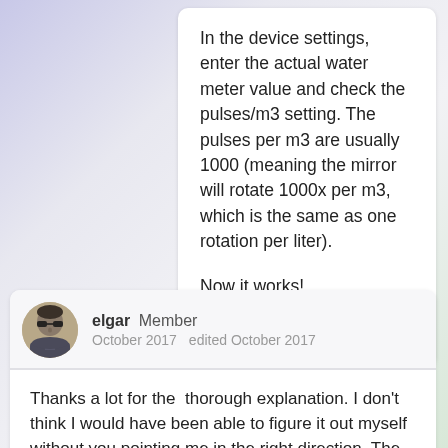In the device settings, enter the actual water meter value and check the pulses/m3 setting. The pulses per m3 are usually 1000 (meaning the mirror will rotate 1000x per m3, which is the same as one rotation per liter).

Now it works!

😉
elgar Member
October 2017   edited October 2017
Thanks a lot for the  thorough explanation. I don't think I would have been able to figure it out myself without you pointing me in the right direction. The end result is an almost correctly functioning water meter which is a great thing. I still need to do some